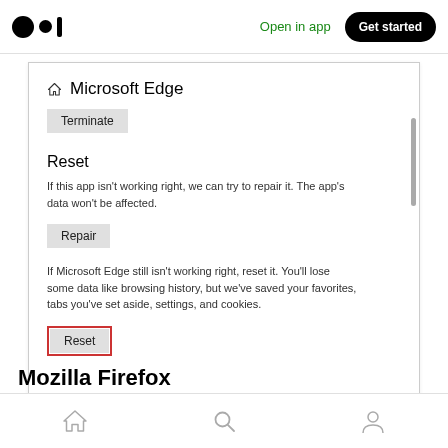[Figure (screenshot): Medium app top navigation bar with Medium logo, 'Open in app' link in green, and 'Get started' black rounded button]
[Figure (screenshot): Windows app settings screenshot showing Microsoft Edge app info with Terminate button, Reset section with description, Repair button, another description about resetting, and Reset button highlighted with red border]
Mozilla Firefox
[Figure (screenshot): Mobile app bottom navigation bar with home, search, and profile icons]